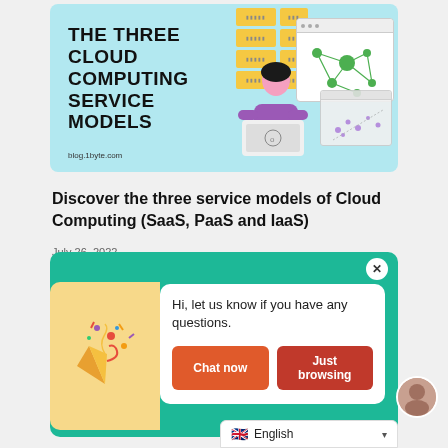[Figure (illustration): Hero banner with light blue background. Bold title 'THE THREE CLOUD COMPUTING SERVICE MODELS' on left. Right side shows yellow server racks, a person with laptop, and a browser window with a network graph. URL 'blog.1byte.com' at bottom left.]
Discover the three service models of Cloud Computing (SaaS, PaaS and IaaS)
July 26, 2022
[Figure (screenshot): Chat widget popup. Green background with white X close button. Left side has orange/yellow confetti party popper illustration on orange background. Right side white box with message 'Hi, let us know if you have any questions.' and two orange buttons: 'Chat now' and 'Just browsing'. Language bar at bottom showing UK flag and 'English' with dropdown chevron.]